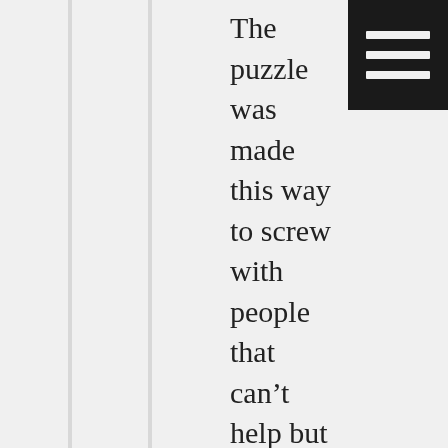The puzzle was made this way to screw with people that can't help but argue that the math is invalid. The puzzle is to simply answer it as a one line problem. That's why it never asks you to “solve” it. It simply asks for the answer. It was never stated that in its current form that it was a valid equation. Call it flawed logic if you want, but that doesn't make your answer correct. Until you stop identifying it as a